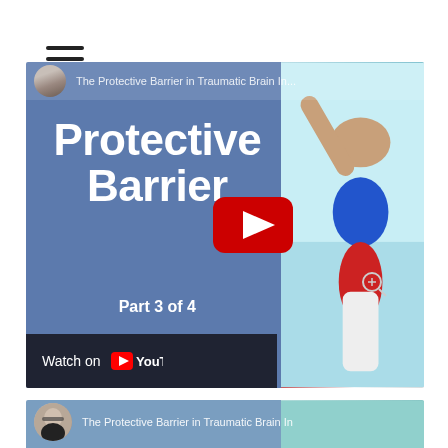[Figure (screenshot): Hamburger menu icon (three horizontal lines) in top-left corner of a webpage]
[Figure (screenshot): YouTube video thumbnail for 'The Protective Barrier in Traumatic Brain Injury' Part 3 of 4. Left side has a blue background with large white bold text reading 'Protective Barrier', a YouTube play button, and 'Part 3 of 4'. Bottom left has a dark 'Watch on YouTube' bar. Right side shows a sports/boxing photo. Top bar shows a circular avatar and partial title text.]
[Figure (screenshot): Partial YouTube video thumbnail for 'The Protective Barrier in Traumatic Brain Injury' (next video in series). Shows avatar with man's face, title text, and beginning of large white bold text 'Protective Barrier' on teal/blue background.]